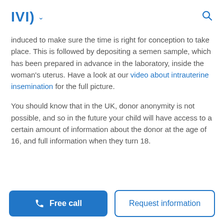IVI [logo] [search icon]
induced to make sure the time is right for conception to take place. This is followed by depositing a semen sample, which has been prepared in advance in the laboratory, inside the woman’s uterus. Have a look at our video about intrauterine insemination for the full picture.
You should know that in the UK, donor anonymity is not possible, and so in the future your child will have access to a certain amount of information about the donor at the age of 16, and full information when they turn 18.
Free call | Request information